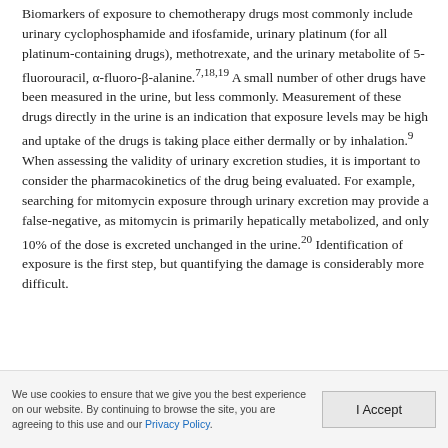Biomarkers of exposure to chemotherapy drugs most commonly include urinary cyclophosphamide and ifosfamide, urinary platinum (for all platinum-containing drugs), methotrexate, and the urinary metabolite of 5-fluorouracil, α-fluoro-β-alanine.7,18,19 A small number of other drugs have been measured in the urine, but less commonly. Measurement of these drugs directly in the urine is an indication that exposure levels may be high and uptake of the drugs is taking place either dermally or by inhalation.9 When assessing the validity of urinary excretion studies, it is important to consider the pharmacokinetics of the drug being evaluated. For example, searching for mitomycin exposure through urinary excretion may provide a false-negative, as mitomycin is primarily hepatically metabolized, and only 10% of the dose is excreted unchanged in the urine.20 Identification of exposure is the first step, but quantifying the damage is considerably more difficult.
We use cookies to ensure that we give you the best experience on our website. By continuing to browse the site, you are agreeing to this use and our Privacy Policy.